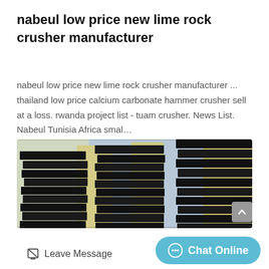nabeul low price new lime rock crusher manufacturer
nabeul low price new lime rock crusher manufacturer ... thailand low price calcium carbonate hammer crusher sell at a loss. rwanda project list - tuam crusher. News List. Nabeul Tunisia Africa smal…
[Figure (photo): Photo of stacked black industrial crusher jaw plates or liner plates with yellow/cream colored crusher body frames in background, stored outdoors.]
Leave Message
Chat Online